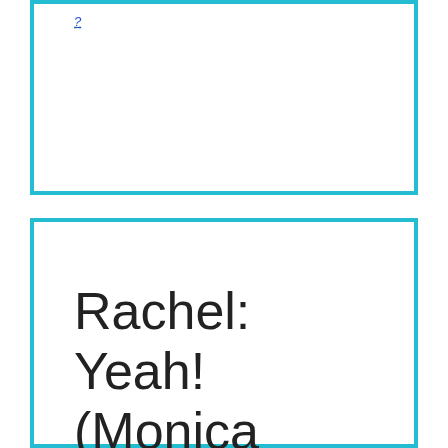?
Rachel: Yeah! (Monica gives a